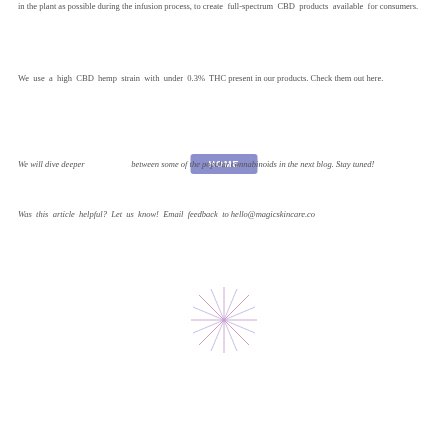in the plant as possible during the infusion process, to create full-spectrum CBD products available for consumers.
We use a high CBD hemp strain with under 0.3% THC present in our products. Check them out here.
[Figure (other): A purple/blue rounded rectangle button labeled HOME]
We will dive deeper in [HOME] between some of the popular cannabinoids in the next blog. Stay tuned!
Was this article helpful? Let us know! Email feedback to hello@magicskincare.co
[Figure (illustration): A decorative pink/purple starburst or asterisk star symbol centered on the page]